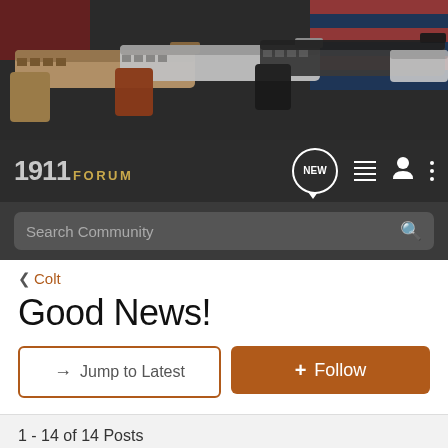[Figure (photo): Banner image showing multiple 1911-style handguns arranged on a dark surface with an American flag in the background]
1911 FORUM — Navigation bar with NEW, list, user, and menu icons, and Search Community bar
< Colt
Good News!
→ Jump to Latest   ⊕ Follow
1 - 14 of 14 Posts
Big Block · Registered
Joined Oct 22, 2001 · 9 Posts